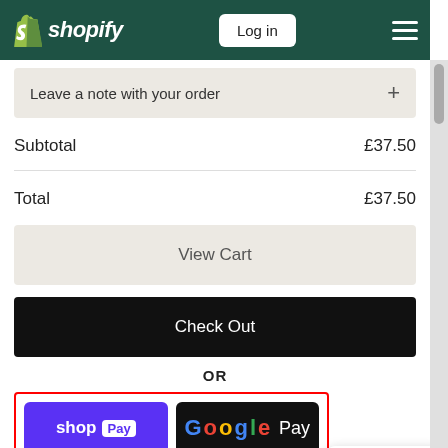[Figure (screenshot): Shopify navigation bar with logo, Log in button, and hamburger menu on dark green background]
Leave a note with your order +
Subtotal  £37.50
Total  £37.50
View Cart
Check Out
OR
[Figure (screenshot): Payment options section with red border containing Shop Pay (purple), Google Pay (black), and PayPal (yellow) buttons. Also shows a Chat with us popup and green chat icon with red badge showing 1.]